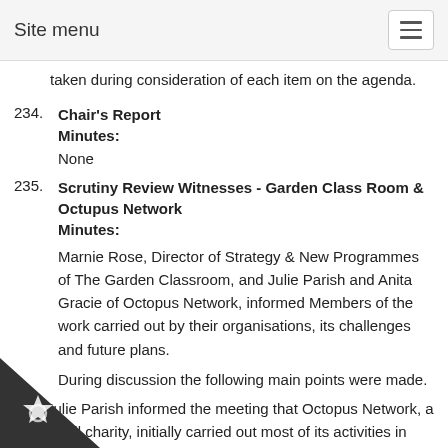Site menu
taken during consideration of each item on the agenda.
234. Chair's Report
Minutes:
None
235. Scrutiny Review Witnesses - Garden Class Room & Octupus Network
Minutes:
Marnie Rose, Director of Strategy & New Programmes of The Garden Classroom, and Julie Parish and Anita Gracie of Octopus Network, informed Members of the work carried out by their organisations, its challenges and future plans.
During discussion the following main points were made.
Julie Parish informed the meeting that Octopus Network, a small charity, initially carried out most of its activities in community centres, offering and hosting a range of services and events. Over the years, however, it has expanded into